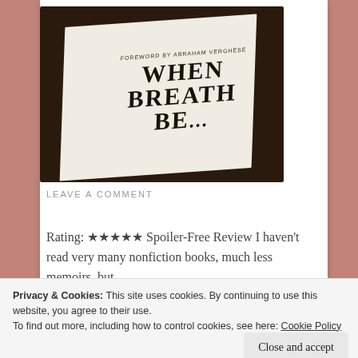[Figure (photo): Photo of the book 'When Breath Becomes Air' with foreword by Abraham Verghese, showing the cover on a dark wooden surface. The white cover page is visible with serif title text: FOREWORD BY ABRAHAM VERGHESE / WHEN / BREATH / BE...]
LEAVE A COMMENT
Rating: ★★★★★ Spoiler-Free Review I haven't read very many nonfiction books, much less memoirs, but
Privacy & Cookies: This site uses cookies. By continuing to use this website, you agree to their use.
To find out more, including how to control cookies, see here: Cookie Policy
Close and accept